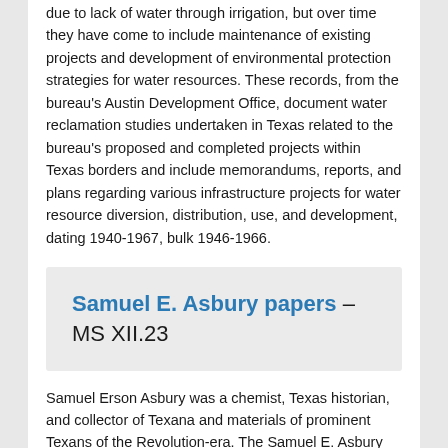due to lack of water through irrigation, but over time they have come to include maintenance of existing projects and development of environmental protection strategies for water resources. These records, from the bureau's Austin Development Office, document water reclamation studies undertaken in Texas related to the bureau's proposed and completed projects within Texas borders and include memorandums, reports, and plans regarding various infrastructure projects for water resource diversion, distribution, use, and development, dating 1940-1967, bulk 1946-1966.
Samuel E. Asbury papers – MS XII.23
Samuel Erson Asbury was a chemist, Texas historian, and collector of Texana and materials of prominent Texans of the Revolution-era. The Samuel E. Asbury papers comprise research correspondence, papers, photographs